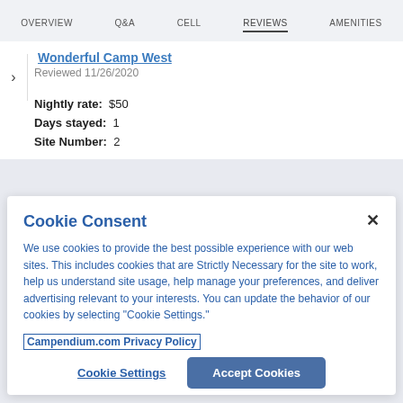OVERVIEW  Q&A  CELL  REVIEWS  AMENITIES
Wonderful Camp West
Reviewed 11/26/2020
Nightly rate: $50
Days stayed: 1
Site Number: 2
Cookie Consent
We use cookies to provide the best possible experience with our web sites. This includes cookies that are Strictly Necessary for the site to work, help us understand site usage, help manage your preferences, and deliver advertising relevant to your interests. You can update the behavior of our cookies by selecting "Cookie Settings."
Campendium.com Privacy Policy
Cookie Settings
Accept Cookies